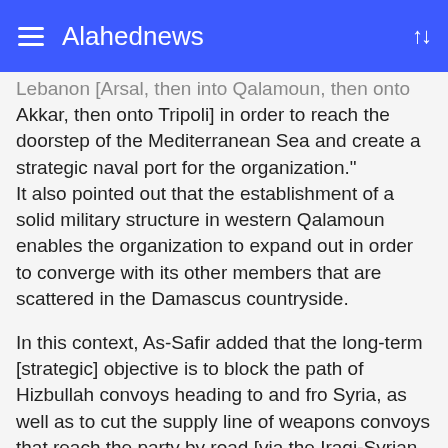Alahednews
Lebanon [Arsal, then into Qalamoun, then onto Akkar, then onto Tripoli] in order to reach the doorstep of the Mediterranean Sea and create a strategic naval port for the organization." It also pointed out that the establishment of a solid military structure in western Qalamoun enables the organization to expand out in order to converge with its other members that are scattered in the Damascus countryside.
In this context, As-Safir added that the long-term [strategic] objective is to block the path of Hizbullah convoys heading to and fro Syria, as well as to cut the supply line of weapons convoys that reach the party by road [via the Iraqi-Syrian border]. Thereafter, they aim to cut the road between Qalamoun and the coast of northern Syria [wherein lies the ports of Baniyas, Tartous, and Latakia].
The newspaper added that the opponents of "Daesh" are trying to fund out its intentions - where lies its priorities in Syria, and whether [it plans anything for] Lebanon in this tense period.